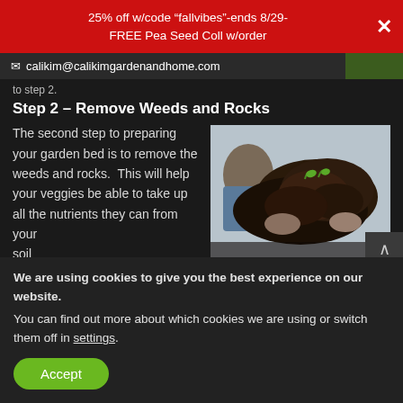25% off w/code “fallvibes”-ends 8/29-
FREE Pea Seed Coll w/order
calikim@calikimgardenandhome.com
to step 2.
Step 2 – Remove Weeds and Rocks
The second step to preparing your garden bed is to remove the weeds and rocks.  This will help your veggies be able to take up all the nutrients they can from your soil witho
[Figure (photo): Person holding a handful of dark soil/dirt with small green seedlings visible, photographed against a light background.]
We are using cookies to give you the best experience on our website.
You can find out more about which cookies we are using or switch them off in settings.
Accept